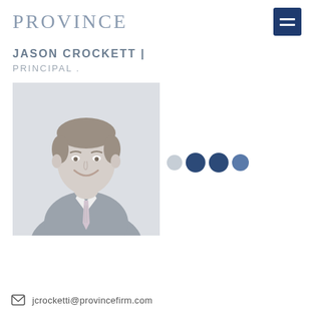PROVINCE
JASON CROCKETT |
PRINCIPAL .
[Figure (photo): Professional headshot of Jason Crockett in a dark suit with a plaid tie, smiling against a light grey background]
jcrocketti@provincefirm.com